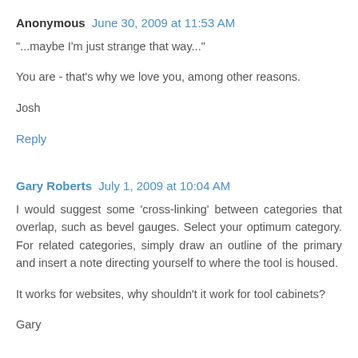Anonymous  June 30, 2009 at 11:53 AM
"...maybe I'm just strange that way..."
You are - that's why we love you, among other reasons.
Josh
Reply
Gary Roberts  July 1, 2009 at 10:04 AM
I would suggest some 'cross-linking' between categories that overlap, such as bevel gauges. Select your optimum category. For related categories, simply draw an outline of the primary and insert a note directing yourself to where the tool is housed.
It works for websites, why shouldn't it work for tool cabinets?
Gary